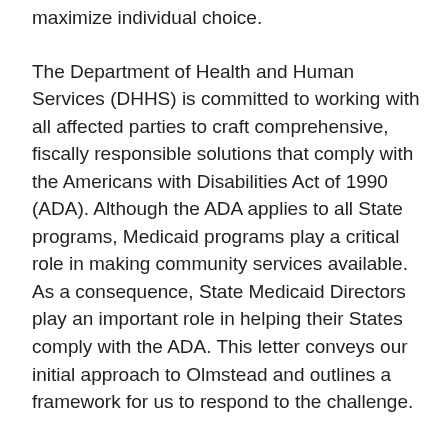maximize individual choice.
The Department of Health and Human Services (DHHS) is committed to working with all affected parties to craft comprehensive, fiscally responsible solutions that comply with the Americans with Disabilities Act of 1990 (ADA). Although the ADA applies to all State programs, Medicaid programs play a critical role in making community services available. As a consequence, State Medicaid Directors play an important role in helping their States comply with the ADA. This letter conveys our initial approach to Olmstead and outlines a framework for us to respond to the challenge.
The Olmstead Decision
The Olmstead case was brought by two Georgia